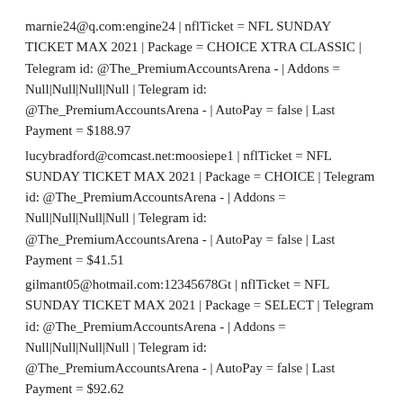marnie24@q.com:engine24 | nflTicket = NFL SUNDAY TICKET MAX 2021 | Package = CHOICE XTRA CLASSIC | Telegram id: @The_PremiumAccountsArena - | Addons = Null|Null|Null|Null | Telegram id: @The_PremiumAccountsArena - | AutoPay = false | Last Payment = $188.97
lucybradford@comcast.net:moosiepe1 | nflTicket = NFL SUNDAY TICKET MAX 2021 | Package = CHOICE | Telegram id: @The_PremiumAccountsArena - | Addons = Null|Null|Null|Null | Telegram id: @The_PremiumAccountsArena - | AutoPay = false | Last Payment = $41.51
gilmant05@hotmail.com:12345678Gt | nflTicket = NFL SUNDAY TICKET MAX 2021 | Package = SELECT | Telegram id: @The_PremiumAccountsArena - | Addons = Null|Null|Null|Null | Telegram id: @The_PremiumAccountsArena - | AutoPay = false | Last Payment = $92.62
briggsmoon@hotmail.com:60chevy348 | nflTicket = NHL CENTER ICE 2021-22 | Package = CHOICE XTRA CLASSIC | Telegram id: @The_PremiumAccountsArena - | Addons = HBO|SHO|MAX|STZ | Telegram id: @The_PremiumAccountsArena - | AutoPay = true | Last